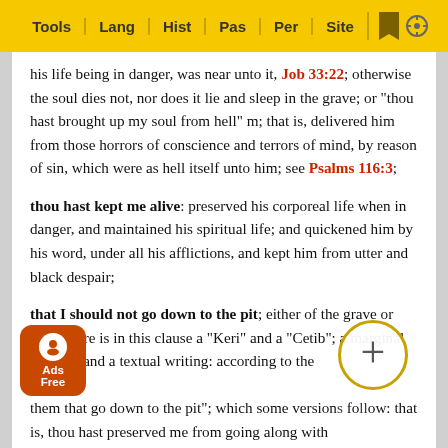Tools | Lang | Hist | Pas | Per | Site
his life being in danger, was near unto it, Job 33:22; otherwise the soul dies not, nor does it lie and sleep in the grave; or "thou hast brought up my soul from hell" m; that is, delivered him from those horrors of conscience and terrors of mind, by reason of sin, which were as hell itself unto him; see Psalms 116:3;
thou hast kept me alive: preserved his corporeal life when in danger, and maintained his spiritual life; and quickened him by his word, under all his afflictions, and kept him from utter and black despair;
that I should not go down to the pit; either of the grave or hell. There is in this clause a "Keri" and a "Cetib"; a marginal reading, and a textual writing: according to the latter them that go down to the pit"; which some versions follow: that is, thou hast preserved me from going along with them, ows the fo